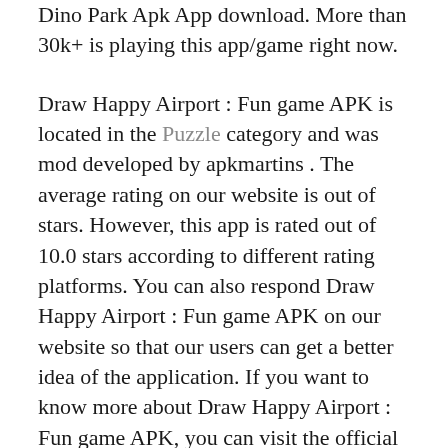Dino Park Apk App download. More than 30k+ is playing this app/game right now.
Draw Happy Airport : Fun game APK is located in the Puzzle category and was mod developed by apkmartins . The average rating on our website is out of stars. However, this app is rated out of 10.0 stars according to different rating platforms. You can also respond Draw Happy Airport : Fun game APK on our website so that our users can get a better idea of the application. If you want to know more about Draw Happy Airport : Fun game APK, you can visit the official developer website for more information. The average rating is rated by users.
How to install Draw